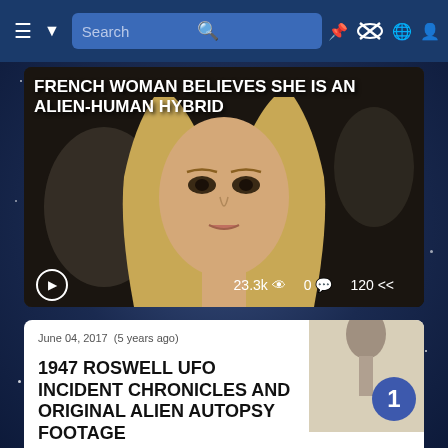Search — September 26, 2017 (4 years ago)
[Figure (screenshot): Video thumbnail showing a blonde woman's face with text overlay: FRENCH WOMAN BELIEVES SHE IS AN ALIEN-HUMAN HYBRID. Stats: 23.3k views, 0 comments, 120 shares. Play button visible.]
June 04, 2017  (5 years ago)
1947 ROSWELL UFO INCIDENT CHRONICLES AND ORIGINAL ALIEN AUTOPSY FOOTAGE